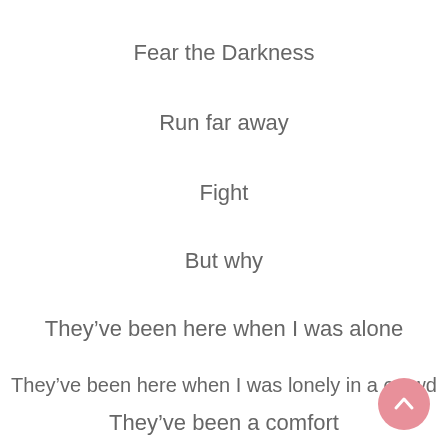Fear the Darkness
Run far away
Fight
But why
They've been here when I was alone
They've been here when I was lonely in a crowd
They've been a comfort